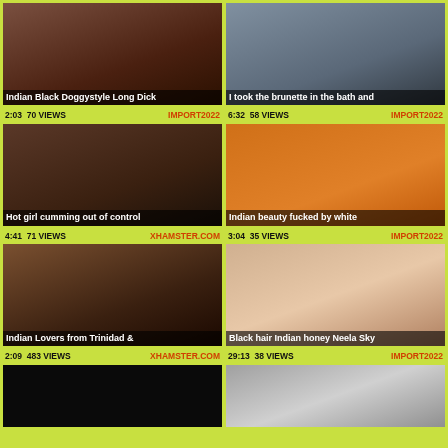[Figure (screenshot): Video thumbnail grid showing 8 adult video thumbnails with titles, view counts, durations, and source tags]
Indian Black Doggystyle Long Dick | 2:03 70 VIEWS IMPORT2022
I took the brunette in the bath and | 6:32 58 VIEWS IMPORT2022
Hot girl cumming out of control | 4:41 71 VIEWS XHAMSTER.COM
Indian beauty fucked by white | 3:04 35 VIEWS IMPORT2022
Indian Lovers from Trinidad & | 2:09 483 VIEWS XHAMSTER.COM
Black hair Indian honey Neela Sky | 29:13 38 VIEWS IMPORT2022